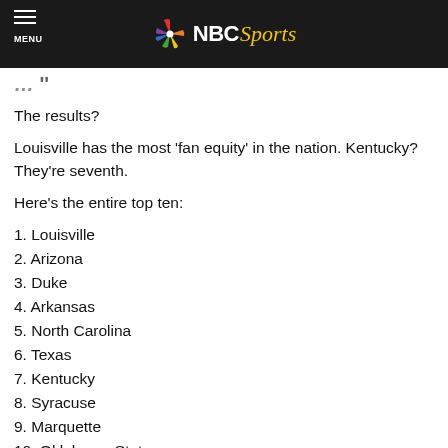NBC Sports
The results?
Louisville has the most 'fan equity' in the nation. Kentucky? They're seventh.
Here's the entire top ten:
1. Louisville
2. Arizona
3. Duke
4. Arkansas
5. North Carolina
6. Texas
7. Kentucky
8. Syracuse
9. Marquette
10. Oklahoma State